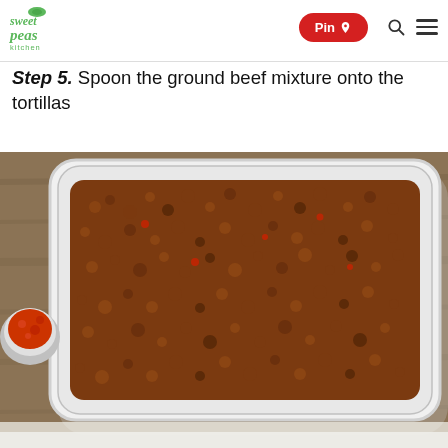Sweet Peas Kitchen — Pin, Search, Menu navigation
Step 5. Spoon the ground beef mixture onto the tortillas
[Figure (photo): Overhead view of a white rectangular baking dish filled with seasoned ground beef mixture, placed on a rustic wood surface. A small bowl of red tomato sauce is visible on the left side. Bottom of image shows the beginning of another plate with tortillas.]